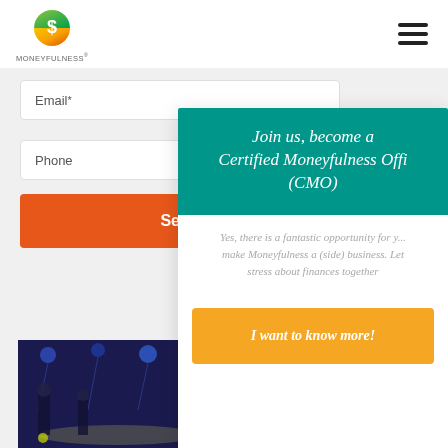[Figure (logo): Moneyfulness logo with green/orange dollar sign circle and MONEYFULNESS text below]
Email*
Phone
Send
[Figure (photo): Event photo showing a room with blue ceiling lights and people]
Join us, become a Certified Moneyfulness Officer (CMO)
Yes, there is a fantastic opportunity for you to make Moneyfulness a (side) business. Let us stop stress about finances together
I want to know more!